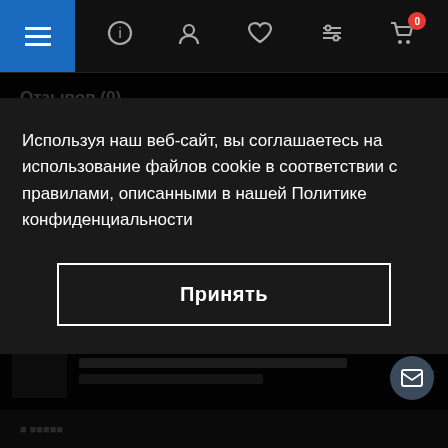Navigation bar with hamburger menu, info, profile, wishlist, filter, and cart icons
Отзывов (0)
Используя наш веб-сайт, вы соглашаетесь на использование файлов cookie в соответствии с правилами, описанными в нашей Политике конфиденциальности
Принять